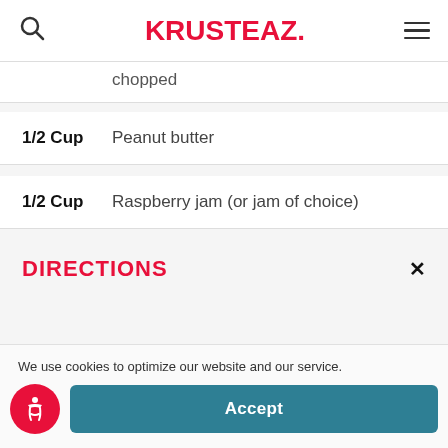KRUSTEAZ.
chopped
1/2 Cup  Peanut butter
1/2 Cup  Raspberry jam (or jam of choice)
DIRECTIONS
We use cookies to optimize our website and our service.
Accept